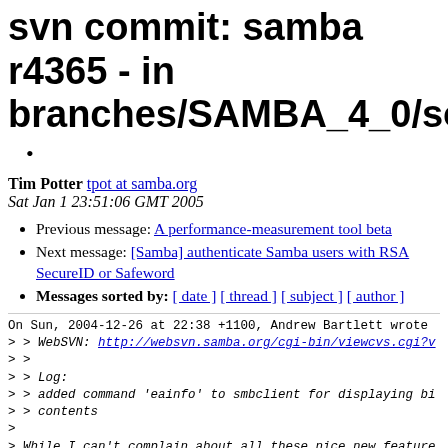svn commit: samba r4365 - in branches/SAMBA_4_0/source/cl
Tim Potter tpot at samba.org
Sat Jan 1 23:51:06 GMT 2005
Previous message: A performance-measurement tool beta
Next message: [Samba] authenticate Samba users with RSA SecureID or Safeword
Messages sorted by: [ date ] [ thread ] [ subject ] [ author ]
On Sun, 2004-12-26 at 22:38 +1100, Andrew Bartlett wrote
> > WebSVN: http://websvn.samba.org/cgi-bin/viewcvs.cgi?v
> >
> > Log:
> > added command 'eainfo' to smbclient for displaying bi
> > contents
>
> While I can't complain about all these nice new feature
> worried about smbclient becoming rpcclient.  That is: